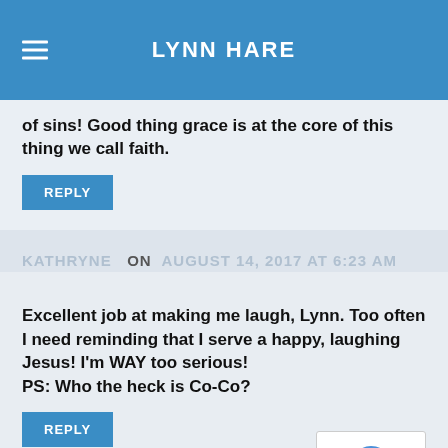LYNN HARE
of sins! Good thing grace is at the core of this thing we call faith.
REPLY
KATHRYNE ON AUGUST 14, 2017 AT 6:23 AM
Excellent job at making me laugh, Lynn. Too often I need reminding that I serve a happy, laughing Jesus! I'm WAY too serious! PS: Who the heck is Co-Co?
REPLY